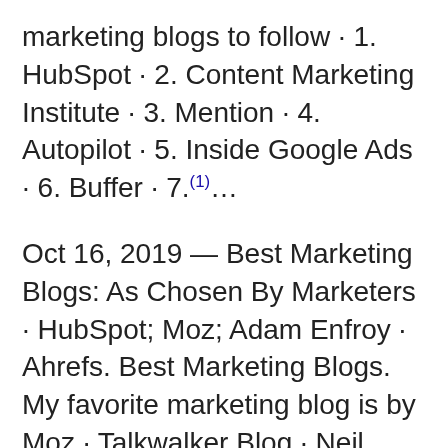marketing blogs to follow · 1. HubSpot · 2. Content Marketing Institute · 3. Mention · 4. Autopilot · 5. Inside Google Ads · 6. Buffer · 7.(1)…
Oct 16, 2019 — Best Marketing Blogs: As Chosen By Marketers · HubSpot; Moz; Adam Enfroy · Ahrefs. Best Marketing Blogs. My favorite marketing blog is by Moz · Talkwalker Blog · Neil Patel · Growth Marketing Pro(2)…
21 Best Marketing Blogs You NEED To Read · 1. Unbounce · 2. Copyblogger · 3.